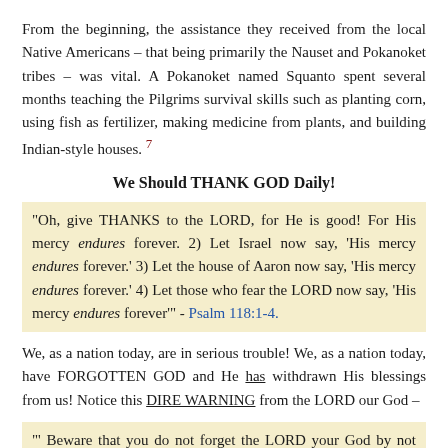From the beginning, the assistance they received from the local Native Americans – that being primarily the Nauset and Pokanoket tribes – was vital. A Pokanoket named Squanto spent several months teaching the Pilgrims survival skills such as planting corn, using fish as fertilizer, making medicine from plants, and building Indian-style houses. 7
We Should THANK GOD Daily!
"Oh, give THANKS to the LORD, for He is good! For His mercy endures forever. 2) Let Israel now say, 'His mercy endures forever.' 3) Let the house of Aaron now say, 'His mercy endures forever.' 4) Let those who fear the LORD now say, 'His mercy endures forever'" - Psalm 118:1-4.
We, as a nation today, are in serious trouble! We, as a nation today, have FORGOTTEN GOD and He has withdrawn His blessings from us! Notice this DIRE WARNING from the LORD our God –
"' Beware that you do not forget the LORD your God by not keeping His commandments, His judgments, and His statutes